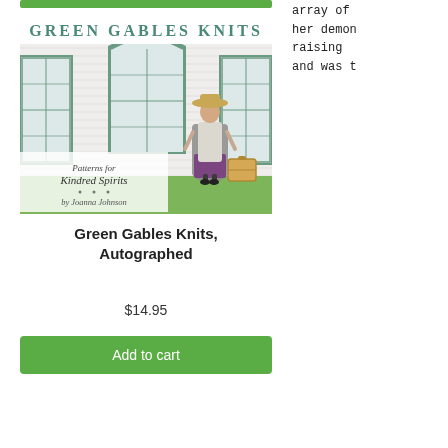[Figure (illustration): Book cover of 'Green Gables Knits - Patterns for Kindred Spirits by Joanna Johnson' showing a woman in vintage dress with a hat standing in front of a white clapboard building with green-trimmed windows, carrying a suitcase. The top title reads GREEN GABLES KNITS in large teal serif letters.]
Green Gables Knits, Autographed
$14.95
Add to cart
array of
her demon
raising
and was t